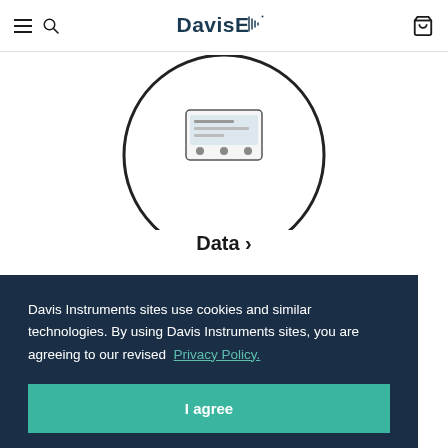Davis Instruments
[Figure (photo): Product image of a Davis Instruments device shown inside a circular frame, partially cropped at top]
Data ›
Davis Instruments sites use cookies and similar technologies. By using Davis Instruments sites, you are agreeing to our revised Privacy Policy.
I agree